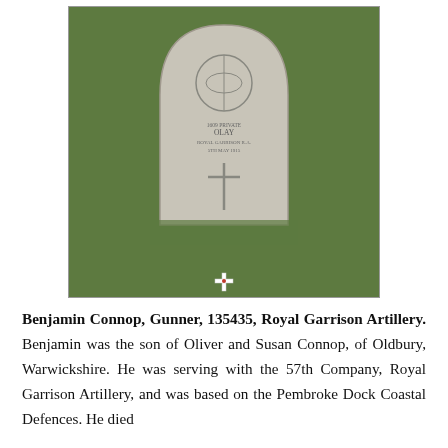[Figure (photo): Photograph of a Commonwealth War Graves Commission headstone for Benjamin Connop, a gunner in the Royal Garrison Artillery, set in a grassy cemetery. A small white cross with a poppy sits at the base of the headstone.]
Benjamin Connop, Gunner, 135435, Royal Garrison Artillery. Benjamin was the son of Oliver and Susan Connop, of Oldbury, Warwickshire. He was serving with the 57th Company, Royal Garrison Artillery, and was based on the Pembroke Dock Coastal Defences. He died